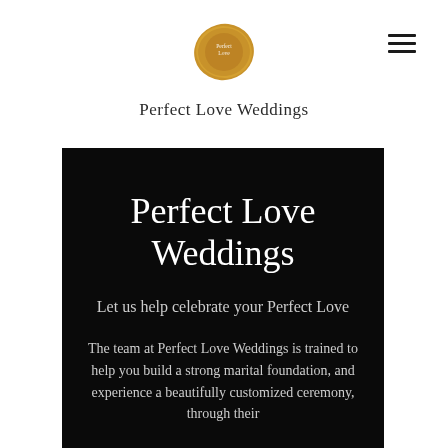[Figure (logo): Perfect Love Weddings gold wax seal logo mark]
Perfect Love Weddings
Perfect Love Weddings
Let us help celebrate your Perfect Love
The team at Perfect Love Weddings is trained to help you build a strong marital foundation, and experience a beautifully customized ceremony, through their